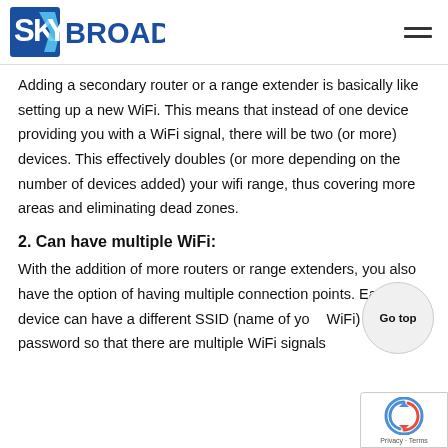SKY BROADBAND
Adding a secondary router or a range extender is basically like setting up a new WiFi. This means that instead of one device providing you with a WiFi signal, there will be two (or more) devices. This effectively doubles (or more depending on the number of devices added) your wifi range, thus covering more areas and eliminating dead zones.
2. Can have multiple WiFi:
With the addition of more routers or range extenders, you also have the option of having multiple connection points. Each device can have a different SSID (name of your WiFi) and password so that there are multiple WiFi signals